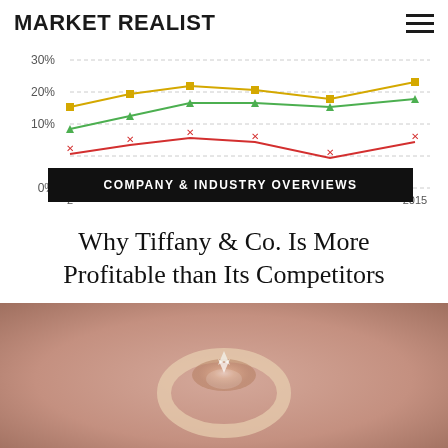MARKET REALIST
[Figure (line-chart): Company profitability comparison]
COMPANY & INDUSTRY OVERVIEWS
Why Tiffany & Co. Is More Profitable than Its Competitors
[Figure (photo): Close-up photo of a diamond and rose gold ring with floral design, blurred warm background]